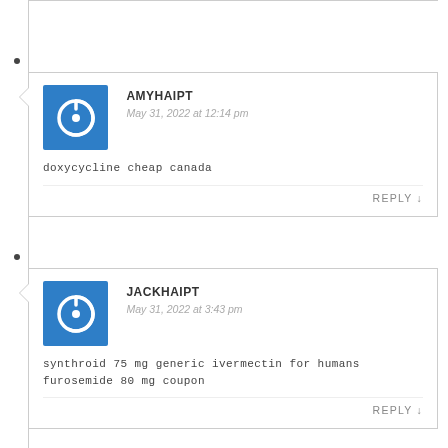AMYHAIPT - May 31, 2022 at 12:14 pm - doxycycline cheap canada
JACKHAIPT - May 31, 2022 at 3:43 pm - synthroid 75 mg generic ivermectin for humans furosemide 80 mg coupon